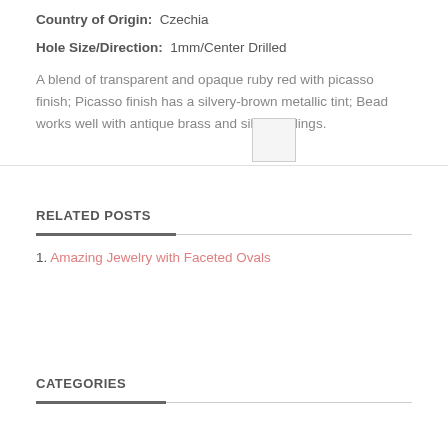Country of Origin:  Czechia
Hole Size/Direction:  1mm/Center Drilled
A blend of transparent and opaque ruby red with picasso finish; Picasso finish has a silvery-brown metallic tint; Bead works well with antique brass and silver findings.
RELATED POSTS
1. Amazing Jewelry with Faceted Ovals
CATEGORIES